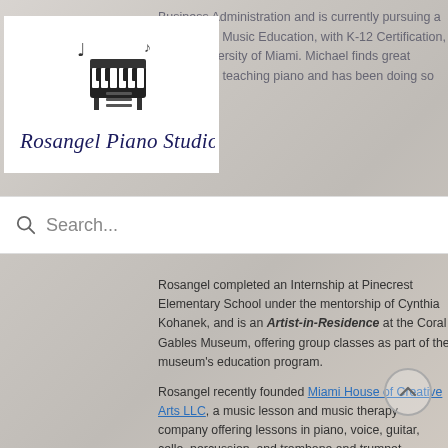[Figure (logo): Rosangel Piano Studio logo with piano graphic and cursive text]
Business Administration and is currently pursuing a Master's of Music Education, with K-12 Certification, at the University of Miami. Michael finds great pleasure in teaching piano and has been doing so
Music and Encore Academy of the Arts in the past.
Search...
Rosangel completed an Internship at Pinecrest Elementary School under the mentorship of Cynthia Kohanek, and is an Artist-in-Residence at the Coral Gables Museum, offering group classes as part of the museum's education program.
Rosangel recently founded Miami House of Creative Arts LLC, a music lesson and music therapy company offering lessons in piano, voice, guitar, cello, percussion, and trombone and trumpet. Additionally, music therapy services are offered by board certified music therapists...